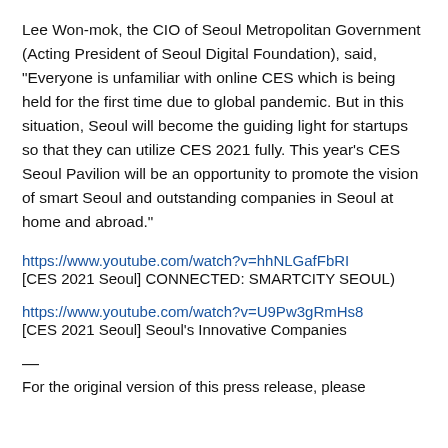Lee Won-mok, the CIO of Seoul Metropolitan Government (Acting President of Seoul Digital Foundation), said, “Everyone is unfamiliar with online CES which is being held for the first time due to global pandemic. But in this situation, Seoul will become the guiding light for startups so that they can utilize CES 2021 fully. This year’s CES Seoul Pavilion will be an opportunity to promote the vision of smart Seoul and outstanding companies in Seoul at home and abroad.”
https://www.youtube.com/watch?v=hhNLGafFbRI
[CES 2021 Seoul] CONNECTED: SMARTCITY SEOUL)
https://www.youtube.com/watch?v=U9Pw3gRmHs8
[CES 2021 Seoul] Seoul’s Innovative Companies
—
For the original version of this press release, please